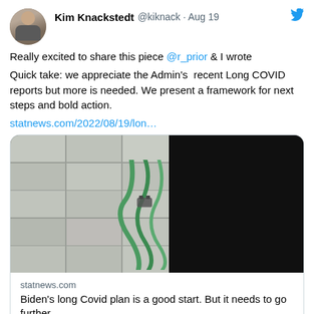Kim Knackstedt @kiknack · Aug 19
Really excited to share this piece @r_prior & I wrote

Quick take: we appreciate the Admin's recent Long COVID reports but more is needed. We present a framework for next steps and bold action.
statnews.com/2022/08/19/lon…
[Figure (photo): Photo showing green oxygen tubes/cables against light-colored tiles, with a dark/black right half of the image. Part of a link card preview for a statnews.com article.]
statnews.com
Biden's long Covid plan is a good start. But it needs to go further